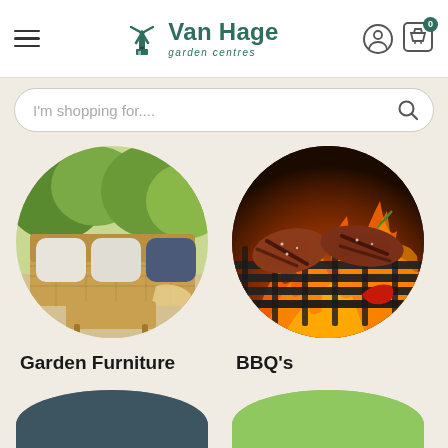[Figure (screenshot): Van Hage garden centres website header with hamburger menu, logo, user icon and cart icon]
I'm shopping for....
[Figure (photo): Circular image of outdoor wicker garden furniture sofa with grey cushions on a patio surrounded by greenery]
Garden Furniture
[Figure (photo): Circular image of BBQ meat steaks grilling on a barbecue grill with flames and red chili peppers]
BBQ's
[Figure (photo): Partial circular image of indoor artificial blue/silver plant branches with cushions]
[Figure (photo): Partial circular image of person with green gardening gloves holding pink flowers]